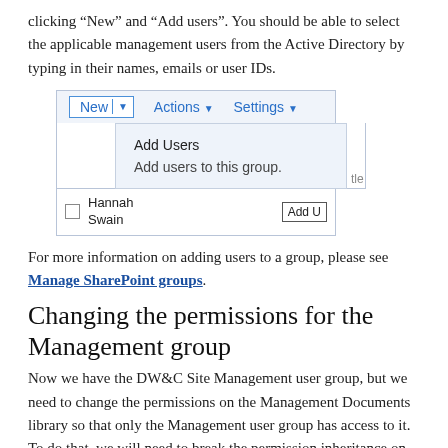clicking “New” and “Add users”. You should be able to select the applicable management users from the Active Directory by typing in their names, emails or user IDs.
[Figure (screenshot): Screenshot of a SharePoint group management UI showing a toolbar with New (with dropdown arrow), Actions, and Settings buttons. A dropdown menu is open under New showing 'Add Users' and 'Add users to this group.' options. Below is a table row with a checkbox, name 'Hannah Swain', a 'tle' column fragment, and an 'Add U' button.]
For more information on adding users to a group, please see Manage SharePoint groups.
Changing the permissions for the Management group
Now we have the DW&C Site Management user group, but we need to change the permissions on the Management Documents library so that only the Management user group has access to it. To do that, we will need to break the permission inheritance on the Management